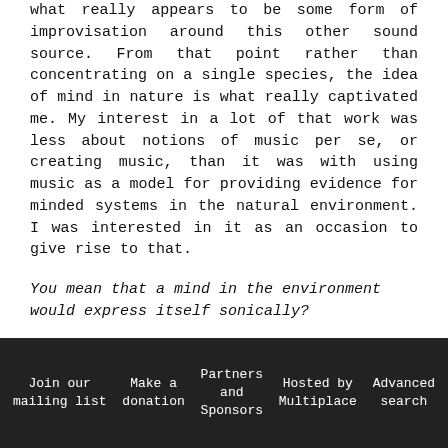what really appears to be some form of improvisation around this other sound source. From that point rather than concentrating on a single species, the idea of mind in nature is what really captivated me. My interest in a lot of that work was less about notions of music per se, or creating music, than it was with using music as a model for providing evidence for minded systems in the natural environment. I was interested in it as an occasion to give rise to that.
You mean that a mind in the environment would express itself sonically?
Exactly. And that's I think where my work parts company with a lot of the major thrust of experimental music that has been concerned with
Join our mailing list   Make a donation   Partners and Sponsors   Hosted by Multiplace   Advanced search